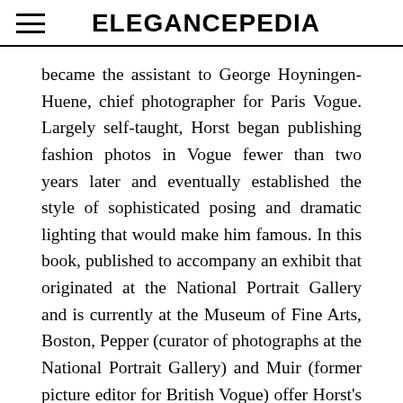ELEGANCEPEDIA
became the assistant to George Hoyningen-Huene, chief photographer for Paris Vogue. Largely self-taught, Horst began publishing fashion photos in Vogue fewer than two years later and eventually established the style of sophisticated posing and dramatic lighting that would make him famous. In this book, published to accompany an exhibit that originated at the National Portrait Gallery and is currently at the Museum of Fine Arts, Boston, Pepper (curator of photographs at the National Portrait Gallery) and Muir (former picture editor for British Vogue) offer Horst's images of the leading figures in the arts, movies, and society that have become the very pictures most often associated with these famous faces. Included are portraits of Noel Coward, Cecil Beaton, Katharine Hepburn, Gertrude Stein, Salvador Dali, and others, as well as many famous fashion models. A biographical essay traces Horst's life and influences. Notes on the plates describe the sitter, photographic session, and other interesting details